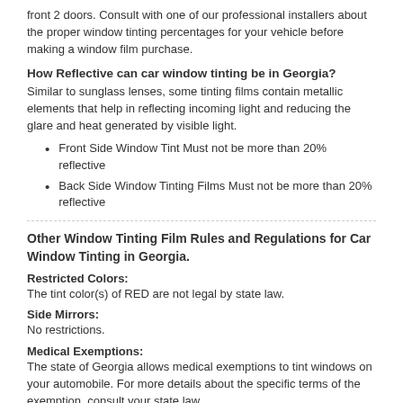front 2 doors. Consult with one of our professional installers about the proper window tinting percentages for your vehicle before making a window film purchase.
How Reflective can car window tinting be in Georgia?
Similar to sunglass lenses, some tinting films contain metallic elements that help in reflecting incoming light and reducing the glare and heat generated by visible light.
Front Side Window Tint Must not be more than 20% reflective
Back Side Window Tinting Films Must not be more than 20% reflective
Other Window Tinting Film Rules and Regulations for Car Window Tinting in Georgia.
Restricted Colors:
The tint color(s) of RED are not legal by state law.
Side Mirrors:
No restrictions.
Medical Exemptions:
The state of Georgia allows medical exemptions to tint windows on your automobile. For more details about the specific terms of the exemption, consult your state law.